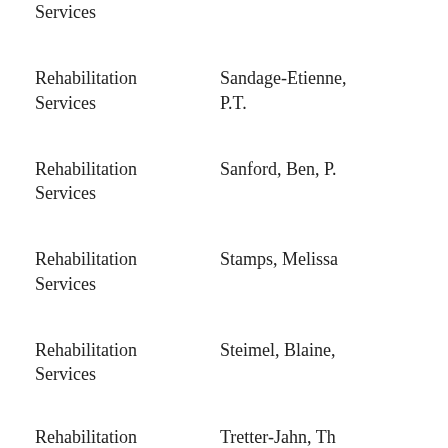Services
Rehabilitation Services
Sandage-Etienne, P.T.
Rehabilitation Services
Sanford, Ben, P.
Rehabilitation Services
Stamps, Melissa
Rehabilitation Services
Steimel, Blaine,
Rehabilitation Services
Tretter-Jahn, Th P.T., D.P.T., O.C
Rehabilitation Services
Barnes, Lee, M.